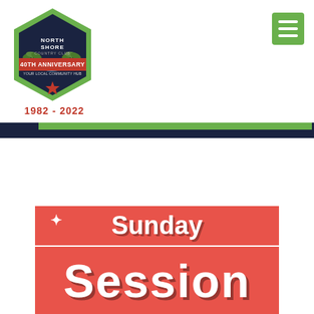[Figure (logo): North Shore Country Club hexagonal logo with green border, dark navy interior, red banner reading '40TH ANNIVERSARY', palm trees illustration, text 'YOUR LOCAL COMMUNITY HUB', red star at bottom. Below logo: '1982 - 2022' in red.]
[Figure (other): Green hamburger menu button (three white horizontal lines) on green square background, positioned top right.]
[Figure (other): Navigation bar: dark navy bar with green accent stripe across top of page.]
[Figure (infographic): Sunday Session promotional banner with coral/salmon red background. Top section reads 'Sunday' in large cursive white text with splash decoration. Bottom section reads 'Session' in very large cursive white text.]